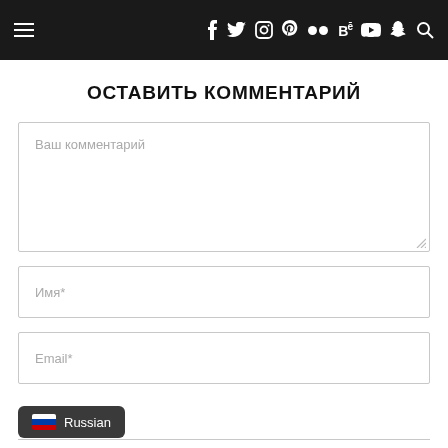Navigation header with hamburger menu and social icons: f, twitter, instagram, pinterest, flickr, Bē, youtube, snapchat, search
ОСТАВИТЬ КОММЕНТАРИЙ
Ваш комментарий
Имя*
Email*
Russian